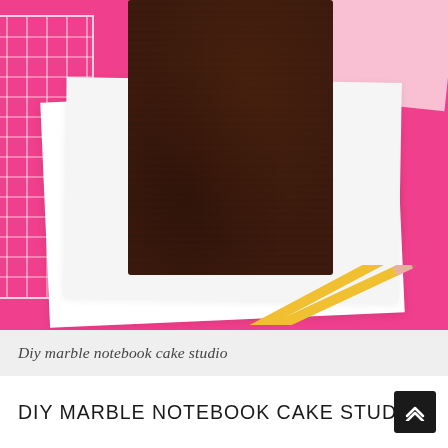[Figure (photo): Top-down photo of a rectangular chocolate cake on white parchment paper layers, set on a bright pink background. A pink grid notebook is visible on the left edge, a pink paper in the upper right corner, and two yellow pencils are in the lower right corner.]
Diy marble notebook cake studio
DIY MARBLE NOTEBOOK CAKE STUDIO